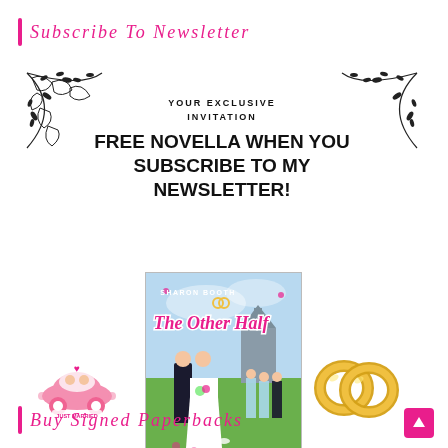Subscribe To Newsletter
[Figure (illustration): Invitation card with floral corner decorations and text: YOUR EXCLUSIVE INVITATION, FREE NOVELLA WHEN YOU SUBSCRIBE TO MY NEWSLETTER!]
[Figure (illustration): Book cover of 'The Other Half' by Sharon Booth showing a wedding couple and wedding party on a green lawn with a church in the background]
[Figure (illustration): Small cartoon of a pink wedding car with bride and groom]
[Figure (illustration): Gold wedding rings interlinked]
Buy Signed Paperbacks